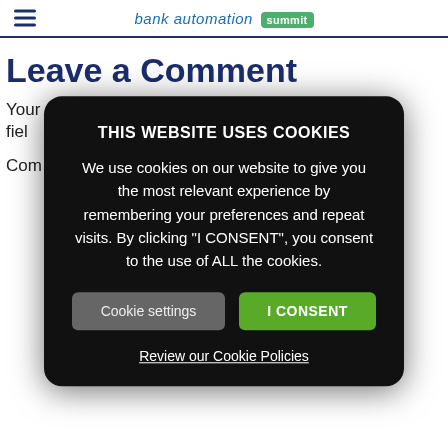bank automation summit
Leave a Comment
Your email address will not be published. Required fields
Com
[Figure (screenshot): Cookie consent modal overlay with black rounded rectangle background. Title: THIS WEBSITE USES COOKIES. Body: We use cookies on our website to give you the most relevant experience by remembering your preferences and repeat visits. By clicking "I CONSENT", you consent to the use of ALL the cookies. Two buttons: 'Cookie settings' (grey) and 'I CONSENT' (green). Link: Review our Cookie Policies.]